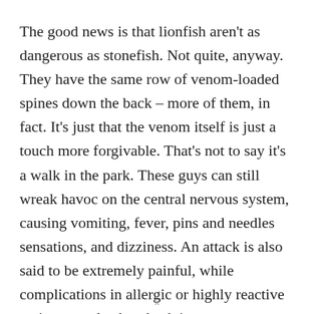The good news is that lionfish aren't as dangerous as stonefish. Not quite, anyway. They have the same row of venom-loaded spines down the back – more of them, in fact. It's just that the venom itself is just a touch more forgivable. That's not to say it's a walk in the park. These guys can still wreak havoc on the central nervous system, causing vomiting, fever, pins and needles sensations, and dizziness. An attack is also said to be extremely painful, while complications in allergic or highly reactive patients can lead to death in rare cases.
x